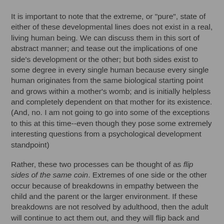It is important to note that the extreme, or "pure", state of either of these developmental lines does not exist in a real, living human being. We can discuss them in this sort of abstract manner; and tease out the implications of one side's development or the other; but both sides exist to some degree in every single human because every single human originates from the same biological starting point and grows within a mother's womb; and is initially helpless and completely dependent on that mother for its existence. (And, no. I am not going to go into some of the exceptions to this at this time--even though they pose some extremely interesting questions from a psychological development standpoint)
Rather, these two processes can be thought of as flip sides of the same coin. Extremes of one side or the other occur because of breakdowns in empathy between the child and the parent or the larger environment. If these breakdowns are not resolved by adulthood, then the adult will continue to act them out, and they will flip back and forth between the two poles of the dialectic.